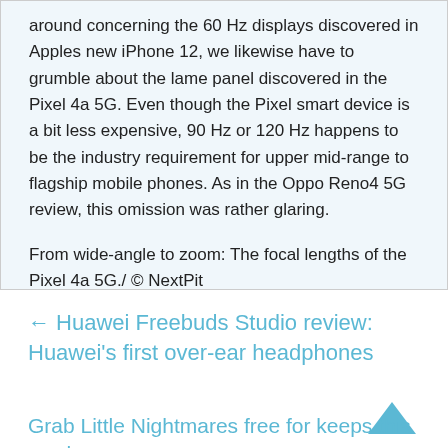around concerning the 60 Hz displays discovered in Apples new iPhone 12, we likewise have to grumble about the lame panel discovered in the Pixel 4a 5G. Even though the Pixel smart device is a bit less expensive, 90 Hz or 120 Hz happens to be the industry requirement for upper mid-range to flagship mobile phones. As in the Oppo Reno4 5G review, this omission was rather glaring.
From wide-angle to zoom: The focal lengths of the Pixel 4a 5G./ © NextPit
← Huawei Freebuds Studio review: Huawei's first over-ear headphones
Grab Little Nightmares free for keeps this week